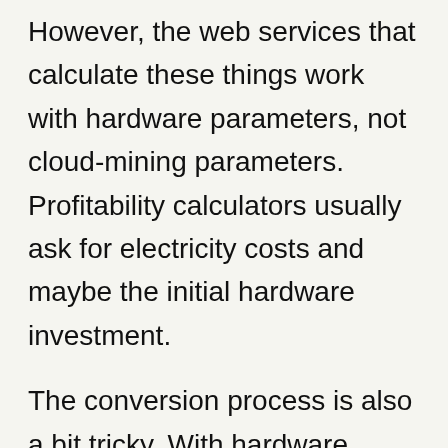However, the web services that calculate these things work with hardware parameters, not cloud-mining parameters. Profitability calculators usually ask for electricity costs and maybe the initial hardware investment.
The conversion process is also a bit tricky. With hardware miners, you can figure out your monthly running cost by multiplying it with your electricity charge by the power consumption of the unit and by a conversion factor of 0.744.  But for cloud mining calculations, you have to do the opposite, because you are given a monthly running